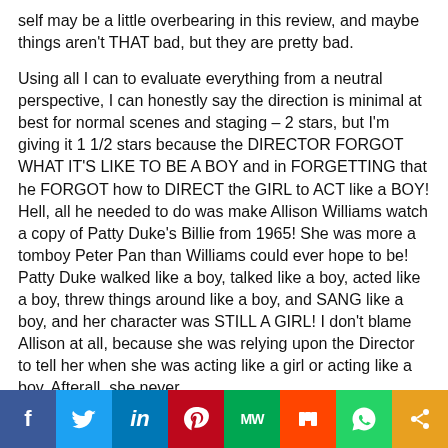self may be a little overbearing in this review, and maybe things aren't THAT bad, but they are pretty bad.
Using all I can to evaluate everything from a neutral perspective, I can honestly say the direction is minimal at best for normal scenes and staging – 2 stars, but I'm giving it 1 1/2 stars because the DIRECTOR FORGOT WHAT IT'S LIKE TO BE A BOY and in FORGETTING that he FORGOT how to DIRECT the GIRL to ACT like a BOY! Hell, all he needed to do was make Allison Williams watch a copy of Patty Duke's Billie from 1965! She was more a tomboy Peter Pan than Williams could ever hope to be! Patty Duke walked like a boy, talked like a boy, acted like a boy, threw things around like a boy, and SANG like a boy, and her character was STILL A GIRL! I don't blame Allison at all, because she was relying upon the Director to tell her when she was acting like a girl or acting like a boy. Afterall, she never
[Figure (infographic): Social sharing bar with icons: Facebook, Twitter, LinkedIn, Pinterest, MeWe, Mix, WhatsApp, Share]